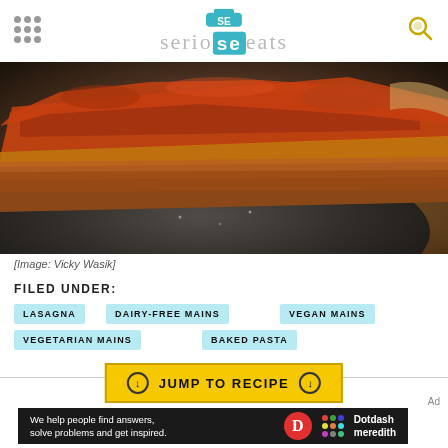Serious Eats
[Figure (photo): A slice of lasagna on a dark plate on a wooden surface]
[Image: Vicky Wasik]
FILED UNDER:
LASAGNA
DAIRY-FREE MAINS
VEGAN MAINS
VEGETARIAN MAINS
BAKED PASTA
JUMP TO RECIPE
Ad
We help people find answers, solve problems and get inspired. Dotdash meredith